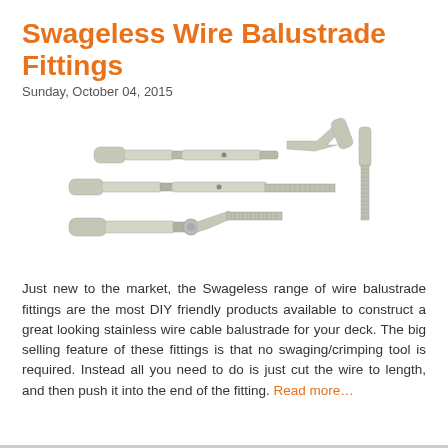Swageless Wire Balustrade Fittings
Sunday, October 04, 2015
[Figure (photo): Several swageless wire balustrade fittings displayed on a white background, including turnbuckle-style tensioners, a jaw/swageless end fitting, a lag screw end, and a threaded rod end fitting, all in brushed stainless steel.]
Just new to the market, the Swageless range of wire balustrade fittings are the most DIY friendly products available to construct a great looking stainless wire cable balustrade for your deck. The big selling feature of these fittings is that no swaging/crimping tool is required. Instead all you need to do is just cut the wire to length, and then push it into the end of the fitting. Read more…